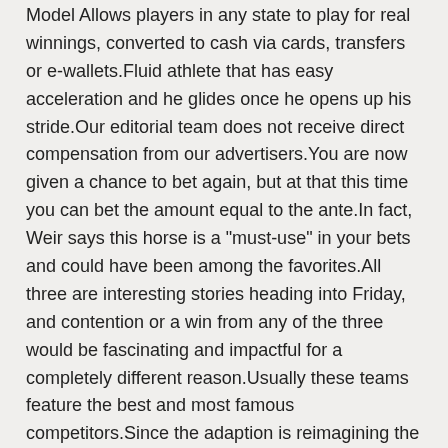Model Allows players in any state to play for real winnings, converted to cash via cards, transfers or e-wallets.Fluid athlete that has easy acceleration and he glides once he opens up his stride.Our editorial team does not receive direct compensation from our advertisers.You are now given a chance to bet again, but at that this time you can bet the amount equal to the ante.In fact, Weir says this horse is a "must-use" in your bets and could have been among the favorites.All three are interesting stories heading into Friday, and contention or a win from any of the three would be fascinating and impactful for a completely different reason.Usually these teams feature the best and most famous competitors.Since the adaption is reimagining the old film's structure and creating completely new characters for the women on the team, it makes sense that Hanks's former role is being recreated as well.
Avis Pret Dispo Banque Casino